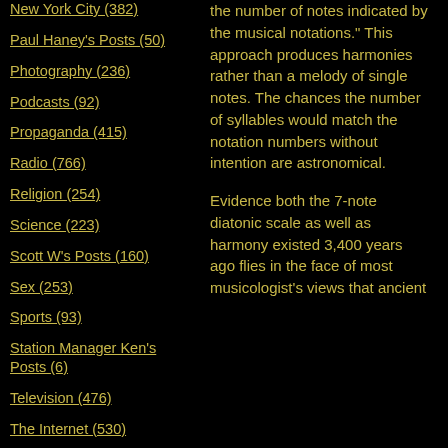New York City (382)
Paul Haney's Posts (50)
Photography (236)
Podcasts (92)
Propaganda (415)
Radio (766)
Religion (254)
Science (223)
Scott W's Posts (160)
Sex (253)
Sports (93)
Station Manager Ken's Posts (6)
Television (476)
The Internet (530)
The Thunk Tank (29)
Tom Djll's Posts (10)
Tony Coulter's Posts (47)
the number of notes indicated by the musical notations." This approach produces harmonies rather than a melody of single notes. The chances the number of syllables would match the notation numbers without intention are astronomical.
Evidence both the 7-note diatonic scale as well as harmony existed 3,400 years ago flies in the face of most musicologist's views that ancient